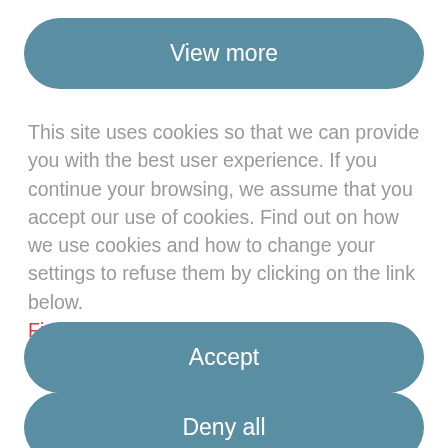[Figure (screenshot): A 'View more' button with rounded corners, teal/blue-grey background and white text]
This site uses cookies so that we can provide you with the best user experience. If you continue your browsing, we assume that you accept our use of cookies. Find out on how we use cookies and how to change your settings to refuse them by clicking on the link below.
Find out more on how we use cookies
[Figure (screenshot): An 'Accept' button with rounded corners, teal/blue-grey background and white text]
[Figure (screenshot): A 'Deny all' button with rounded corners, teal/blue-grey background and white text]